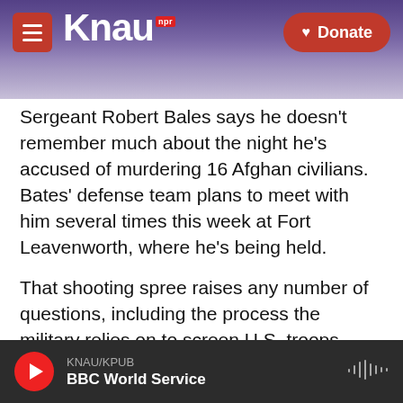KNAU NPR / Donate
Sergeant Robert Bales says he doesn't remember much about the night he's accused of murdering 16 Afghan civilians. Bates' defense team plans to meet with him several times this week at Fort Leavenworth, where he's being held.
That shooting spree raises any number of questions, including the process the military relies on to screen U.S. troops before deployment and whether or not those assessment tools are good enough to identify those who may need help.
If you've been in uniform over the past few years,
KNAU/KPUB
BBC World Service